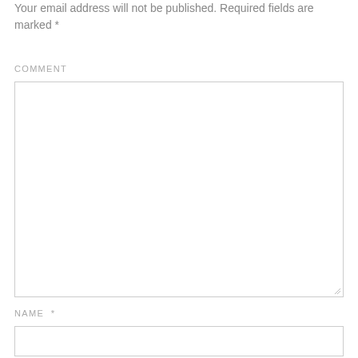Your email address will not be published. Required fields are marked *
COMMENT
[Figure (other): Large textarea input field for comment entry with resize handle at bottom-right]
NAME *
[Figure (other): Single-line text input field for name entry]